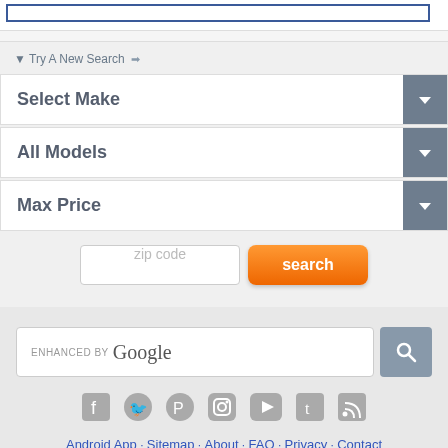[Figure (screenshot): A cropped text input box at the top of the page, partially visible with a blue border.]
▼ Try A New Search ➡
Select Make
All Models
Max Price
[Figure (screenshot): A zip code input field and an orange search button side by side.]
[Figure (screenshot): A Google enhanced search bar with a gray search button.]
[Figure (screenshot): Social media icons: Facebook, Twitter, Pinterest, Instagram, YouTube, Tumblr, RSS.]
Android App · Sitemap · About · FAQ · Privacy · Contact
Copyright © 2007-2022. Autopten.com. All Rights Reserved.
⊕ Top